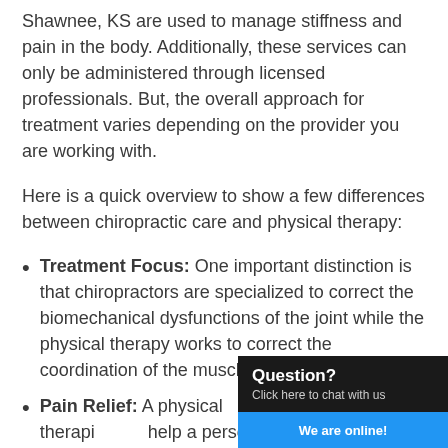Shawnee, KS are used to manage stiffness and pain in the body. Additionally, these services can only be administered through licensed professionals. But, the overall approach for treatment varies depending on the provider you are working with.
Here is a quick overview to show a few differences between chiropractic care and physical therapy:
Treatment Focus: One important distinction is that chiropractors are specialized to correct the biomechanical dysfunctions of the joint while the physical therapy works to correct the coordination of the muscles.
Pain Relief: A physical therapist can help a person achieve pain-free... comparison, a chiropractor f...